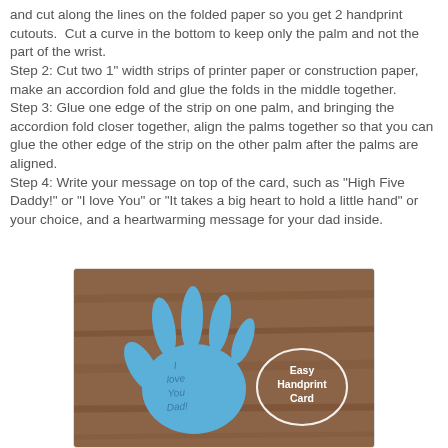and cut along the lines on the folded paper so you get 2 handprint cutouts.  Cut a curve in the bottom to keep only the palm and not the part of the wrist.
Step 2: Cut two 1" width strips of printer paper or construction paper, make an accordion fold and glue the folds in the middle together.
Step 3: Glue one edge of the strip on one palm, and bringing the accordion fold closer together, align the palms together so that you can glue the other edge of the strip on the other palm after the palms are aligned.
Step 4: Write your message on top of the card, such as "High Five Daddy!" or "I love You" or "It takes a big heart to hold a little hand" or your choice, and a heartwarming message for your dad inside.
[Figure (photo): Photo of a blue paper handprint cutout on a wooden surface with 'I love You Dad!' written on it, overlaid with a logo badge reading 'Easy Handprint Card']